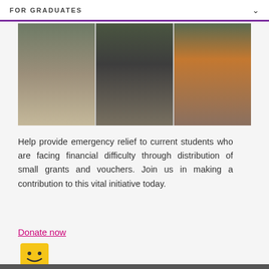FOR GRADUATES
[Figure (photo): Three students standing outdoors in front of green plants and a bench. Left: young man in grey long-sleeve shirt and khaki pants with a backpack. Centre: young man in black t-shirt crouching. Right: young woman in orange sweater with a blue backpack holding books, arms crossed, smiling.]
Help provide emergency relief to current students who are facing financial difficulty through distribution of small grants and vouchers. Join us in making a contribution to this vital initiative today.
Donate now
[Figure (illustration): A yellow smiley-face chat bubble emoji icon.]